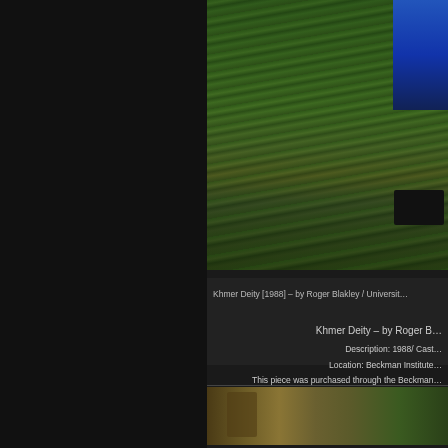[Figure (photo): Photo of a garden/outdoor area with tall green grass plants and foliage, with blue-jean-clad legs and shoes visible at top right, and what appears to be a large container or sculpture]
Khmer Deity [1988] – by Roger Blakley / Universit…
Khmer Deity – by Roger B…
Description: 1988/ Cast…
Location: Beckman Institute…
This piece was purchased through the Beckman…
[Figure (photo): Photo of outdoor area with bare trees and foliage, partially visible at bottom of page]